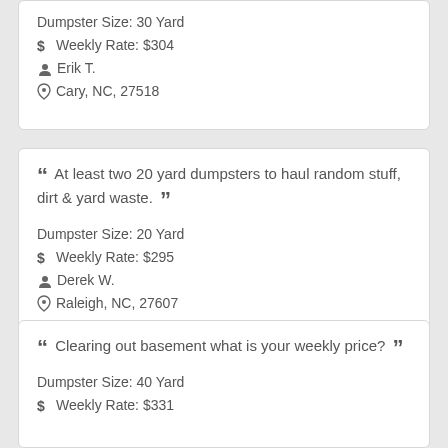Dumpster Size: 30 Yard
Weekly Rate: $304
Erik T.
Cary, NC, 27518
“ At least two 20 yard dumpsters to haul random stuff, dirt & yard waste. ”
Dumpster Size: 20 Yard
Weekly Rate: $295
Derek W.
Raleigh, NC, 27607
“ Clearing out basement what is your weekly price? ”
Dumpster Size: 40 Yard
Weekly Rate: $331